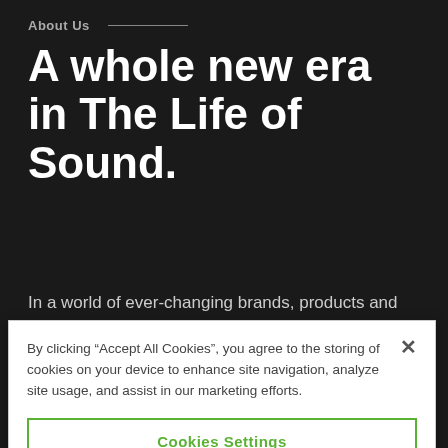About Us
A whole new era in The Life of Sound.
In a world of ever-changing brands, products and
By clicking “Accept All Cookies”, you agree to the storing of cookies on your device to enhance site navigation, analyze site usage, and assist in our marketing efforts.
Cookies Settings
Reject All
Accept All Cookies